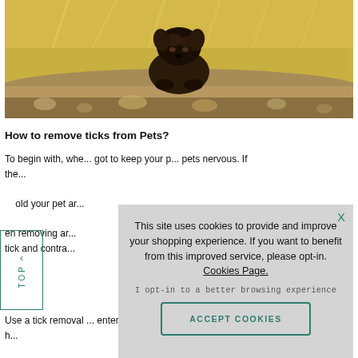[Figure (photo): A small dark dog (Yorkshire Terrier) peering over a log in a golden outdoor setting with yellow grass in background]
How to remove ticks from Pets?
To begin with, whe... got to keep your p... pets nervous. If the... hold your pet ar... en removing ar... tick and contra...
This site uses cookies to provide and improve your shopping experience. If you want to benefit from this improved service, please opt-in. Cookies Page.
I opt-in to a better browsing experience
ACCEPT COOKIES
Use a tick removal ... entering the blood ... on the market to h...